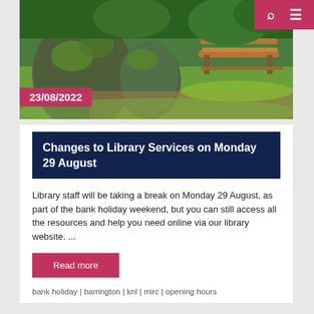[Figure (photo): Outdoor park scene with mossy rock formations and a wooden bench on a grassy area]
23/08/2022
Changes to Library Services on Monday 29 August
Library staff will be taking a break on Monday 29 August, as part of the bank holiday weekend, but you can still access all the resources and help you need online via our library website. ...
Read more
bank holiday | barrington | knl | mirc | opening hours